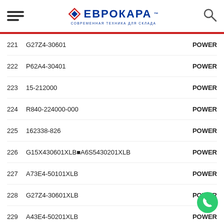ЕВРОКАРА — СОВРЕМЕННАЯ ТЕХНИКА ДЛЯ СКЛАДА
221   G27Z4-30601   POWER
222   P62A4-30401   POWER
223   15-212000   POWER
224   R840-224000-000   POWER
225   162338-826   POWER
226   G15X430601XLB A6S5430201XLB   POWER
227   A73E4-50101XLB   POWER
228   G27Z4-30601XLB   POWER
229   A43E4-50201XLB   POWER
230   502-1302   POWER
231   HRA01D4102   POWER
232   BZZ1-280B   POWER
233   502-1302 G27Z4-12501   POWER
234   G0064-00051 BZZ1-125AA-H   POWER